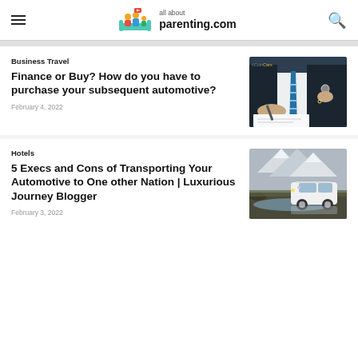all about parenting.com
Business Travel
Finance or Buy? How do you have to purchase your subsequent automotive?
February 4, 2022
[Figure (photo): Person in suit signing documents while another hand holds car keys, with CoinCars logo watermark]
Hotels
5 Execs and Cons of Transporting Your Automotive to One other Nation | Luxurious Journey Blogger
February 3, 2022
[Figure (photo): White SUV driving through water in a rocky landscape with snow-capped mountains in the background]